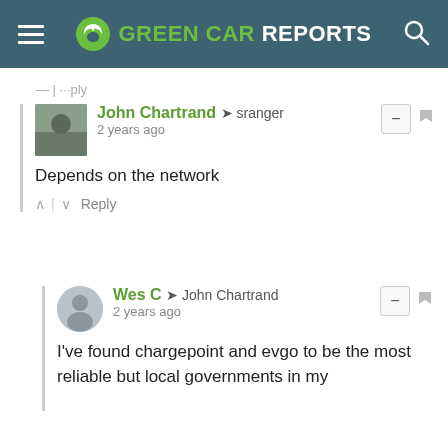GREEN CAR REPORTS
John Chartrand → sranger
2 years ago
Depends on the network
Wes C → John Chartrand
2 years ago
I've found chargepoint and evgo to be the most reliable but local governments in my